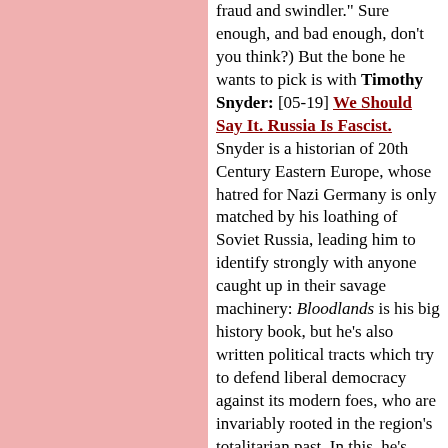[Figure (other): Pink/salmon colored background panel occupying the left column of the page layout]
fraud and swindler." Sure enough, and bad enough, don't you think?) But the bone he wants to pick is with Timothy Snyder: [05-19] We Should Say It. Russia Is Fascist. Snyder is a historian of 20th Century Eastern Europe, whose hatred for Nazi Germany is only matched by his loathing of Soviet Russia, leading him to identify strongly with anyone caught up in their savage machinery: Bloodlands is his big history book, but he's also written political tracts which try to defend liberal democracy against its modern foes, who are invariably rooted in the region's totalitarian past. In this, he's found that mapping his targets to Fascism is all it takes (QED), so that's what he does with Putin. On some